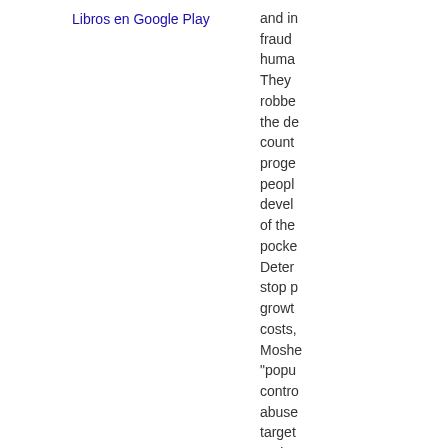Libros en Google Play
and in fraud huma They robbe the de count proge peopl devel of the pocke Deter stop p growt costs, Moshe "popu contro abuse target and re minor